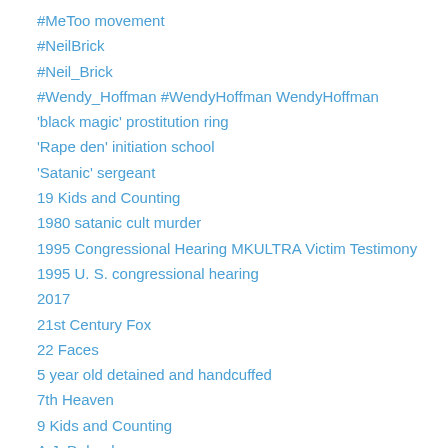#MeToo movement
#NeilBrick
#Neil_Brick
#Wendy_Hoffman #WendyHoffman WendyHoffman
'black magic' prostitution ring
'Rape den' initiation school
'Satanic' sergeant
19 Kids and Counting
1980 satanic cult murder
1995 Congressional Hearing MKULTRA Victim Testimony
1995 U. S. congressional hearing
2017
21st Century Fox
22 Faces
5 year old detained and handcuffed
7th Heaven
9 Kids and Counting
A.J. Delgado
aboriginal children
Aboriginal Peoples